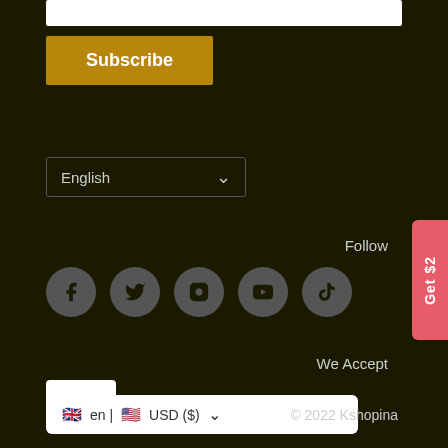[Figure (screenshot): White input bar at top of page (partial)]
Subscribe
English (dropdown selector)
Follow
[Figure (illustration): Social media icons: Facebook, Twitter, Instagram, YouTube, TikTok]
We Accept
[Figure (logo): PayPal logo in white box]
en | USD ($) (language/currency selector)
© 2022 Kshopina
Get $2 (coupon tab on right side)